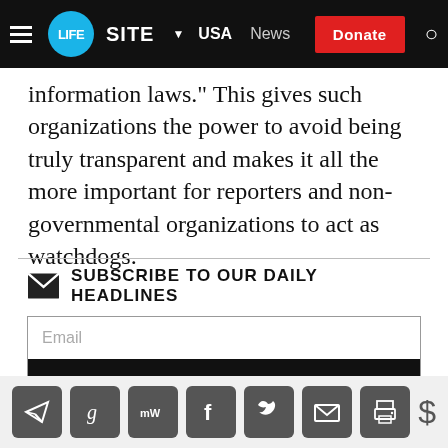LifeSite News — USA | News | Donate
information laws.” This gives such organizations the power to avoid being truly transparent and makes it all the more important for reporters and non-governmental organizations to act as watchdogs.
SUBSCRIBE TO OUR DAILY HEADLINES — Email input and Subscribe button with radio options: US, Canada, World, Catholic
[Figure (infographic): Row of social sharing icons: Telegram, Gettr, MeWe, Facebook, Twitter, Email, Print, and a dollar sign icon]